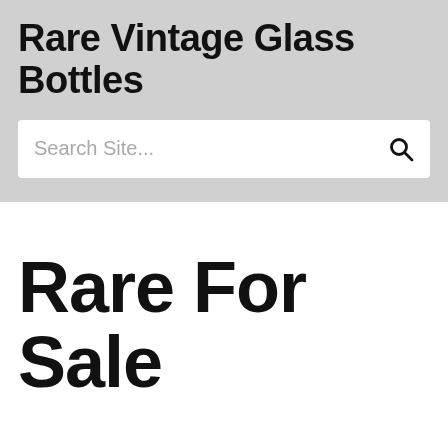Rare Vintage Glass Bottles
Search Site...
Rare For Sale